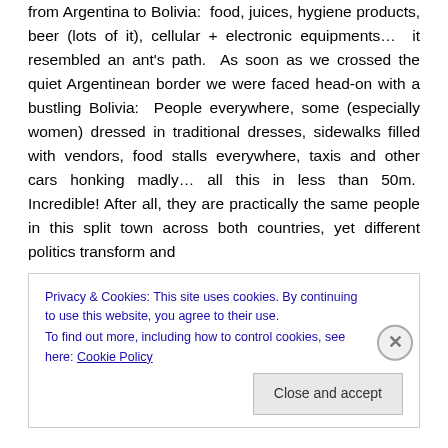from Argentina to Bolivia: food, juices, hygiene products, beer (lots of it), cellular + electronic equipments… it resembled an ant's path. As soon as we crossed the quiet Argentinean border we were faced head-on with a bustling Bolivia: People everywhere, some (especially women) dressed in traditional dresses, sidewalks filled with vendors, food stalls everywhere, taxis and other cars honking madly… all this in less than 50m. Incredible! After all, they are practically the same people in this split town across both countries, yet different politics transform and
Privacy & Cookies: This site uses cookies. By continuing to use this website, you agree to their use. To find out more, including how to control cookies, see here: Cookie Policy